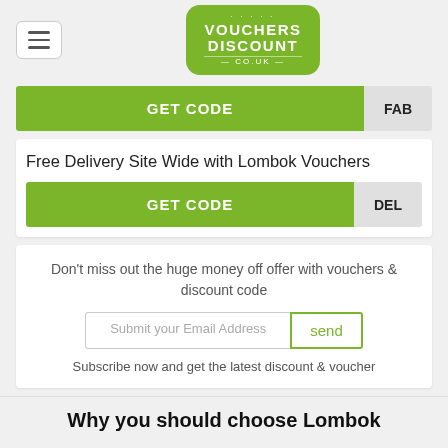[Figure (logo): Vouchers Discount co.uk green rounded logo with menu hamburger icon]
GET CODE  FAB
Free Delivery Site Wide with Lombok Vouchers
GET CODE  DEL
Don't miss out the huge money off offer with vouchers & discount code
Submit your Email Address  send
Subscribe now and get the latest discount & voucher
Why you should choose Lombok